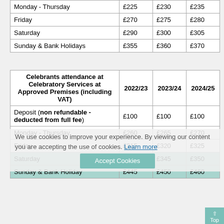|  | 2022/23 | 2023/24 | 2024/25 |
| --- | --- | --- | --- |
| Monday - Thursday | £225 | £230 | £235 |
| Friday | £270 | £275 | £280 |
| Saturday | £290 | £300 | £305 |
| Sunday & Bank Holidays | £355 | £360 | £370 |
| Celebrants attendance at Celebratory Services at Approved Premises (including VAT) | 2022/23 | 2023/24 | 2024/25 |
| --- | --- | --- | --- |
| Deposit (non refundable - deducted from full fee) | £100 | £100 | £100 |
| Monday - Thursday | £260 | £265 | £270 |
| Friday | £315 | £320 | £325 |
| Saturday | £340 | £345 | £350 |
| Sunday & Bank Holiday | £445 | £450 | £460 |